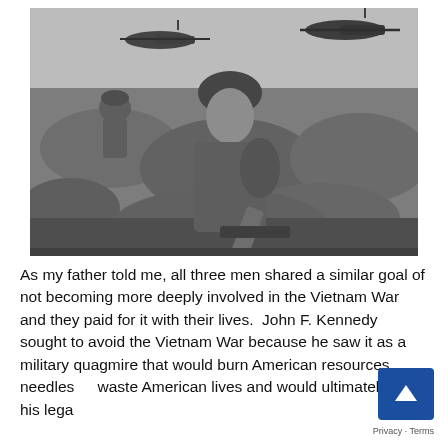[Figure (photo): Black and white photograph of soldiers in combat during the Vietnam War. Multiple soldiers in helmets and combat gear are visible in dense vegetation. Military helicopters are visible in the sky above.]
As my father told me, all three men shared a similar goal of not becoming more deeply involved in the Vietnam War and they paid for it with their lives.  John F. Kennedy sought to avoid the Vietnam War because he saw it as a military quagmire that would burn American resources, needlessly waste American lives and would ultimately hurt his legacy as president, because everyone recognized the problem.